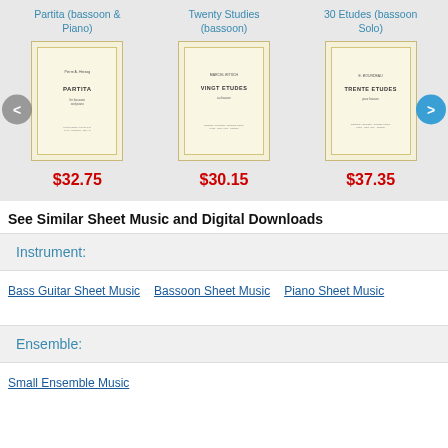Partita (bassoon & Piano)
$32.75
Twenty Studies (bassoon)
$30.15
30 Etudes (bassoon Solo)
$37.35
See Similar Sheet Music and Digital Downloads
Instrument:
Bass Guitar Sheet Music
Bassoon Sheet Music
Piano Sheet Music
Ensemble:
Small Ensemble Music